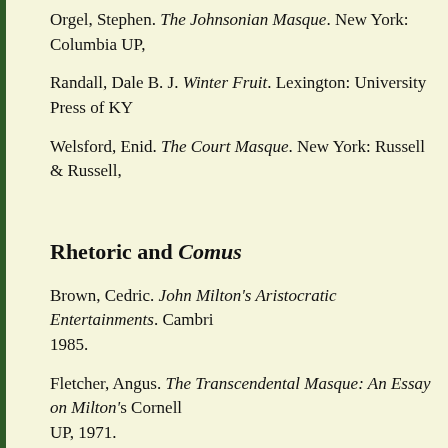Orgel, Stephen. The Johnsonian Masque. New York: Columbia UP,
Randall, Dale B. J. Winter Fruit. Lexington: University Press of KY
Welsford, Enid. The Court Masque. New York: Russell & Russell,
Rhetoric and Comus
Brown, Cedric. John Milton's Aristocratic Entertainments. Cambri 1985.
Fletcher, Angus. The Transcendental Masque: An Essay on Milton's Cornell UP, 1971.
Graham, Jean E. "Virgin Ears: Silence, Deafness, and Chastity in M (1998): 1-17.
Hollis, Hilda. "Without Charity: an Intertextual Study of Milton's C 34 (1997): 159-78.
Kim, Julio H. "The Lady's Unladylike Struggle: Redefining Patriar